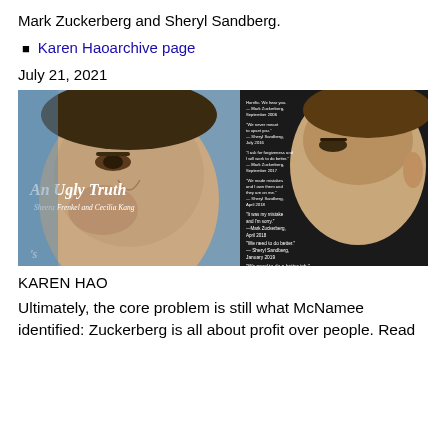Mark Zuckerberg and Sheryl Sandberg.
Karen Haoarchive page
July 21, 2021
[Figure (photo): Book cover photo of 'An Ugly Truth' by Sheera Frenkel and Cecilia Kang, showing close-up faces of Mark Zuckerberg and Sheryl Sandberg with quotes on the right side.]
KAREN HAO
Ultimately, the core problem is still what McNamee identified: Zuckerberg is all about profit over people. Read